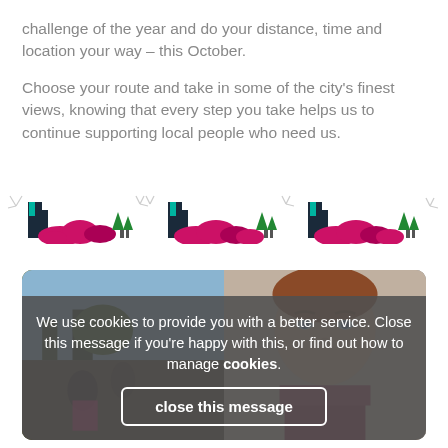challenge of the year and do your distance, time and location your way – this October.

Choose your route and take in some of the city's finest views, knowing that every step you take helps us to continue supporting local people who need us.
[Figure (illustration): Decorative repeating skyline strip with pink, dark blue/navy buildings, green trees, and small decorative grass/firework elements on a white background.]
[Figure (photo): Photo of people outdoors, one person is a woman with reddish hair looking at the camera, wearing a scarf. Background shows outdoor urban/park setting.]
We use cookies to provide you with a better service. Close this message if you're happy with this, or find out how to manage cookies.
close this message